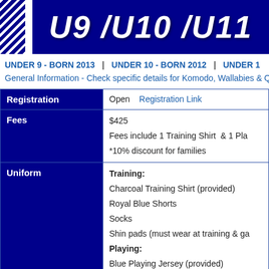[Figure (illustration): Dark blue header banner with diagonal stripe pattern on left side, large italic white text reading 'U9 /U10 /U11']
UNDER 9 - BORN 2013  |  UNDER 10 - BORN 2012  |  UNDER 1...
General Information - Check specific details for Komodo, Wallabies & Qu...
| Registration | Fees | Uniform |
| --- | --- | --- |
| Registration | Open  Registration Link |
| Fees | $425
Fees include 1 Training Shirt  & 1 Pla...
*10% discount for families |
| Uniform | Training:
Charcoal Training Shirt (provided)
Royal Blue Shorts
Socks
Shin pads (must wear at training & ga...
Playing:
Blue Playing Jersey (provided)
Royal Blue Shorts
Royal Sho... |